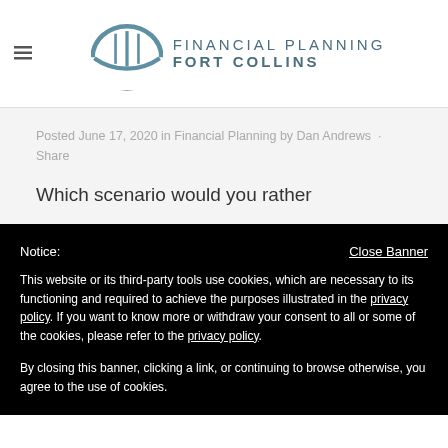[Figure (logo): Financial Planning Fort Collins logo with umbrella/dome graphic and text]
Posted June 17, 2020 in Financial Planning by Dan Andrews · Share
Which scenario would you rather
Notice:
Close Banner
This website or its third-party tools use cookies, which are necessary to its functioning and required to achieve the purposes illustrated in the privacy policy. If you want to know more or withdraw your consent to all or some of the cookies, please refer to the privacy policy.
By closing this banner, clicking a link, or continuing to browse otherwise, you agree to the use of cookies.